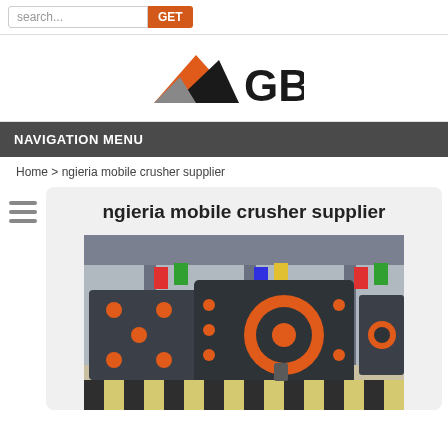search... GET
[Figure (logo): GBM logo with orange and black mountain/triangle graphic and bold 'GBM' text]
NAVIGATION MENU
Home > ngieria mobile crusher supplier
ngieria mobile crusher supplier
[Figure (photo): Photo of large industrial mobile crusher machines in a factory/exhibition hall with orange circular components and colorful flags in background]